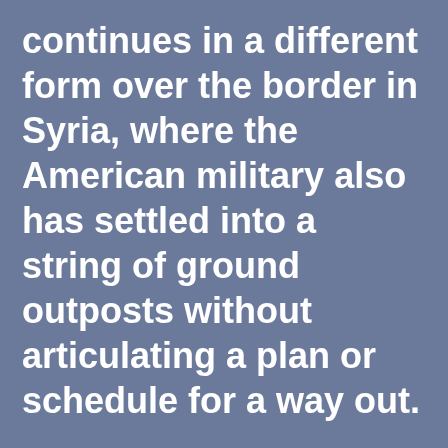continues in a different form over the border in Syria, where the American military also has settled into a string of ground outposts without articulating a plan or schedule for a way out.

The United States has at various times declared success in its many missions, late 2022 i